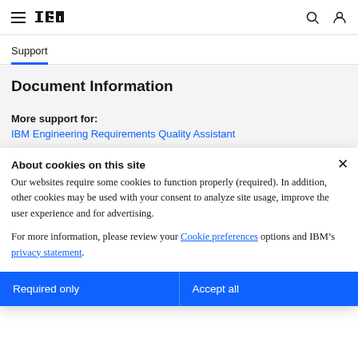IBM Navigation bar with hamburger menu, IBM logo, search and user icons
Support
Document Information
More support for:
IBM Engineering Requirements Quality Assistant
About cookies on this site
Our websites require some cookies to function properly (required). In addition, other cookies may be used with your consent to analyze site usage, improve the user experience and for advertising.
For more information, please review your Cookie preferences options and IBM's privacy statement.
Required only
Accept all